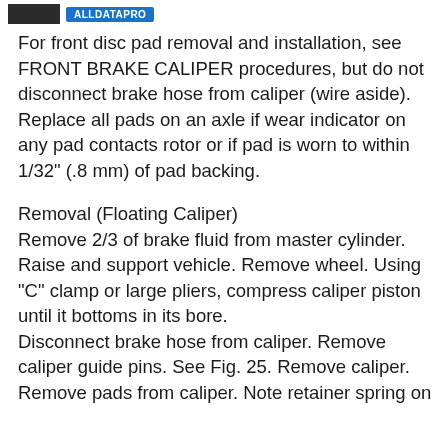ALLDATAPRO
For front disc pad removal and installation, see FRONT BRAKE CALIPER procedures, but do not disconnect brake hose from caliper (wire aside). Replace all pads on an axle if wear indicator on any pad contacts rotor or if pad is worn to within 1/32" (.8 mm) of pad backing.
Removal (Floating Caliper)
Remove 2/3 of brake fluid from master cylinder. Raise and support vehicle. Remove wheel. Using "C" clamp or large pliers, compress caliper piston until it bottoms in its bore.
Disconnect brake hose from caliper. Remove caliper guide pins. See Fig. 25. Remove caliper. Remove pads from caliper. Note retainer spring on